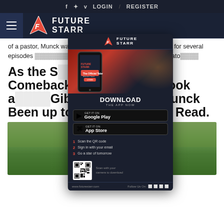f  ❤  v  LOGIN  /  REGISTER
[Figure (logo): Future Starr logo with hamburger menu on dark navy navigation bar]
of a pastor, Munck was joined by his younger brother Ethan for several episodes (Source: www.rottentomato...
[Figure (screenshot): Future Starr app download popup overlay showing phone mockup, Download the App Now, Google Play and App Store buttons, QR code, and steps to download]
As the S... lake Its Comeback... ot, Have a Look a... Gibby A.k.a. Noah Munck Been up to All These Years; Read.
[Figure (photo): Photo of Noah Munck (Gibby) outdoors, seated, wearing dark jacket, with greenery in background]